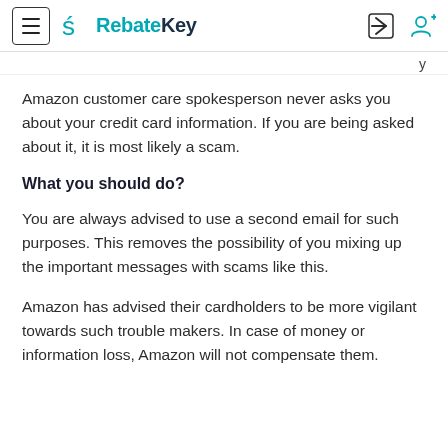RebateKey
Amazon customer care spokesperson never asks you about your credit card information. If you are being asked about it, it is most likely a scam.
What you should do?
You are always advised to use a second email for such purposes. This removes the possibility of you mixing up the important messages with scams like this.
Amazon has advised their cardholders to be more vigilant towards such trouble makers. In case of money or information loss, Amazon will not compensate them.